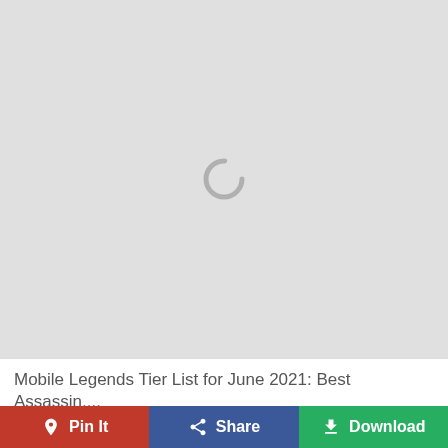[Figure (screenshot): Loading spinner (circular arc) centered on a light gray background, indicating an image is loading]
Mobile Legends Tier List for June 2021: Best Assassin,...
[Figure (infographic): Social sharing action bar with three buttons: Pin It (red, Pinterest icon), Share (blue, Facebook icon), Download (green, download icon)]